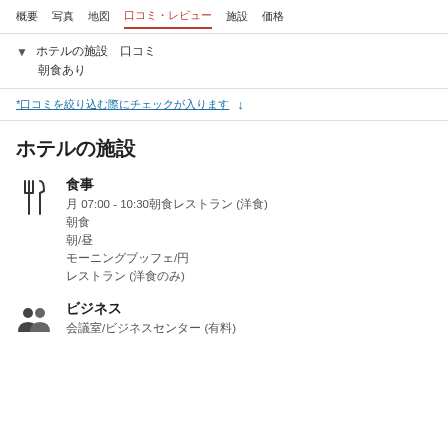概要　写真　地図　口コミ・レビュー　施設　価格
▼ ホテルの施設　口コミ
朝食あり
*口コミを絞り込む際にチェックが入ります　↓
ホテルの施設
食事　月 07:00 - 10:30朝食レストラン (洋食)　朝食　朝/昼　モーニングブッフェ/円　レストラン (洋食のみ)
ビジネス　会議室/ビジネスセンター (有料)